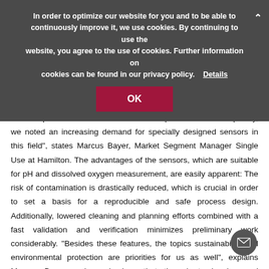In order to optimize our website for you and to be able to continuously improve it, we use cookies. By continuing to use the website, you agree to the use of cookies. Further information on cookies can be found in our privacy policy. Details
OK
more disposable reactors are used for bioprocesses. Consequently, we noted an increasing demand for specially designed sensors in this field", states Marcus Bayer, Market Segment Manager Single Use at Hamilton. The advantages of the sensors, which are suitable for pH and dissolved oxygen measurement, are easily apparent: The risk of contamination is drastically reduced, which is crucial in order to set a basis for a reproducible and safe process design. Additionally, lowered cleaning and planning efforts combined with a fast validation and verification minimizes preliminary work considerably. “Besides these features, the topics sustainability and environmental protection are priorities for us as well", explains Marcus Bayer and emphasizes that the short cleaning and sterilization times effect the water as well as energy usage positively.